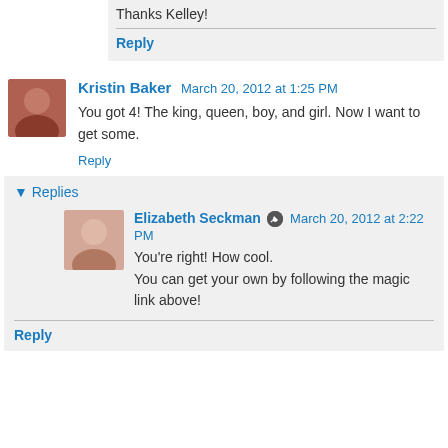Thanks Kelley!
Reply
Kristin Baker  March 20, 2012 at 1:25 PM
You got 4! The king, queen, boy, and girl. Now I want to get some.
Reply
Replies
Elizabeth Seckman  March 20, 2012 at 2:22 PM
You're right! How cool.
You can get your own by following the magic link above!
Reply